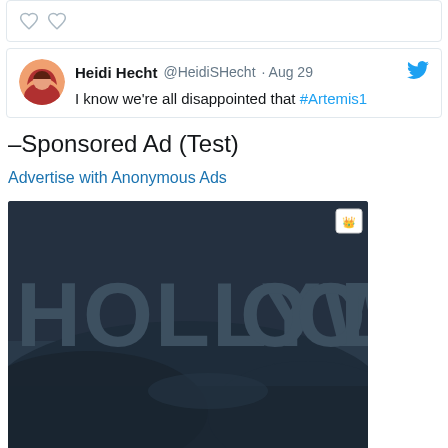[Figure (screenshot): Top portion of a tweet card showing like/heart icons at the bottom]
[Figure (screenshot): Tweet card: Heidi Hecht @HeidiSHecht · Aug 29 — I know we're all disappointed that #Artemis1]
–Sponsored Ad (Test)
Advertise with Anonymous Ads
[Figure (photo): Dark blue-tinted photo of Hollywood sign partially visible, showing letters HOLLYWOCO D, with hills in background]